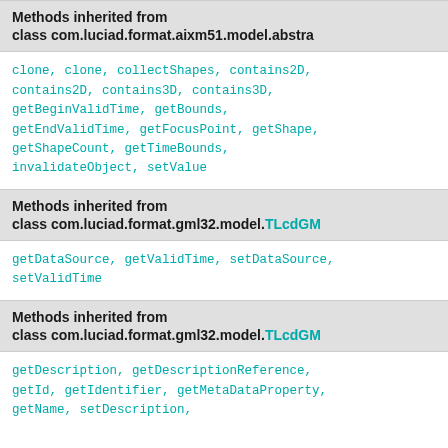Methods inherited from class com.luciad.format.aixm51.model.abstra
clone, clone, collectShapes, contains2D, contains2D, contains3D, contains3D, getBeginValidTime, getBounds, getEndValidTime, getFocusPoint, getShape, getShapeCount, getTimeBounds, invalidateObject, setValue
Methods inherited from class com.luciad.format.gml32.model.TLcdGM
getDataSource, getValidTime, setDataSource, setValidTime
Methods inherited from class com.luciad.format.gml32.model.TLcdGM
getDescription, getDescriptionReference, getId, getIdentifier, getMetaDataProperty, getName, setDescription,